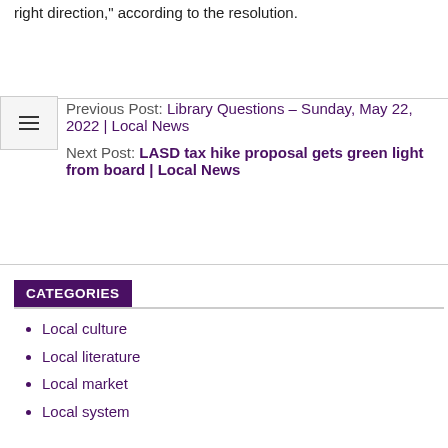right direction," according to the resolution.
Previous Post: Library Questions – Sunday, May 22, 2022 | Local News
Next Post: LASD tax hike proposal gets green light from board | Local News
CATEGORIES
Local culture
Local literature
Local market
Local system